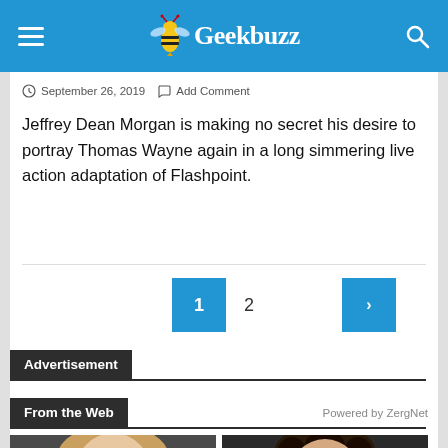Geekbuzz
September 26, 2019   Add Comment
Jeffrey Dean Morgan is making no secret his desire to portray Thomas Wayne again in a long simmering live action adaptation of Flashpoint.
1  2  >
Advertisement
From the Web   Powered by ZergNet
[Figure (photo): Two thumbnail photos of people at the bottom of the page]